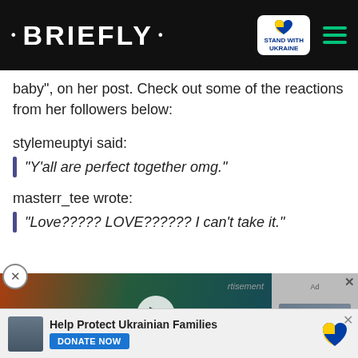• BRIEFLY •
baby", on her post. Check out some of the reactions from her followers below:
stylemeuptyi said:
"Y'all are perfect together omg."
masterr_tee wrote:
"Love????? LOVE?????? I can't take it."
[Figure (screenshot): Video thumbnail with play button showing celebrity, overlaid with red caption 'I WAS ACTUALLY DROWNING']
[Figure (screenshot): Advertisement banner: Help Protect Ukrainian Families, DONATE NOW button with Ukraine heart logo]